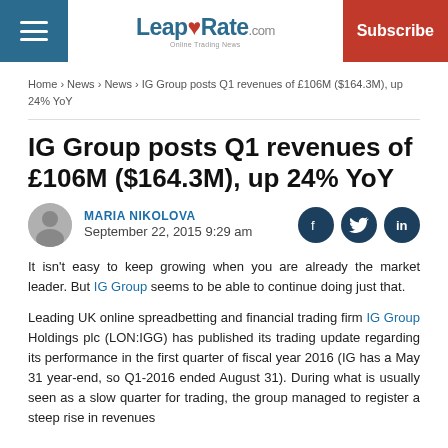LeapRate.com | Subscribe
Home › News › News › IG Group posts Q1 revenues of £106M ($164.3M), up 24% YoY
IG Group posts Q1 revenues of £106M ($164.3M), up 24% YoY
MARIA NIKOLOVA
September 22, 2015 9:29 am
It isn't easy to keep growing when you are already the market leader. But IG Group seems to be able to continue doing just that.
Leading UK online spreadbetting and financial trading firm IG Group Holdings plc (LON:IGG) has published its trading update regarding its performance in the first quarter of fiscal year 2016 (IG has a May 31 year-end, so Q1-2016 ended August 31). During what is usually seen as a slow quarter for trading, the group managed to register a steep rise in revenues